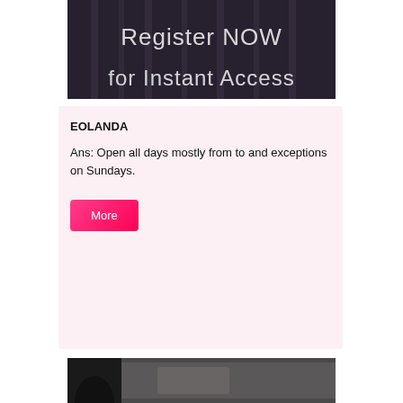[Figure (photo): Dark banner image with text 'Register NOW for Instant Access' overlaid in white on a dark background showing a person in dim lighting]
EOLANDA
Ans: Open all days mostly from to and exceptions on Sundays.
[Figure (other): Pink/magenta 'More' button]
[Figure (photo): Dark partial image at bottom of page, appears to show a person silhouette]